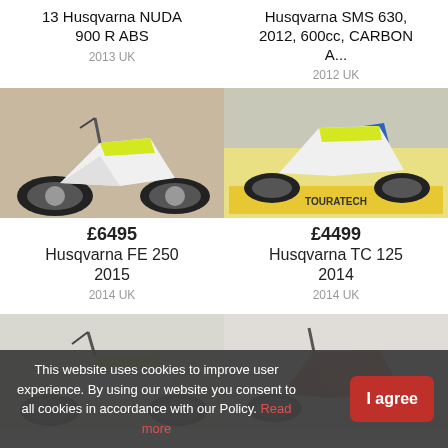13 Husqvarna NUDA 900 R ABS
2013 UK
Husqvarna SMS 630, 2012, 600cc, CARBON A...
2012 UK
[Figure (photo): Husqvarna FE 250 2015 dirt bike, white and yellow, side view]
[Figure (photo): Husqvarna TC 125 2014 dirt bike, white and blue/yellow, with Touratech branding]
£6495
Husqvarna FE 250 2015
2014 UK
£4499
Husqvarna TC 125 2014
2014 UK
[Figure (photo): Husqvarna dirt bike, white and yellow/green, side view]
[Figure (photo): Red and silver dirt bike, side view in garage]
This website uses cookies to improve user experience. By using our website you consent to all cookies in accordance with our Policy. Read more
I agree